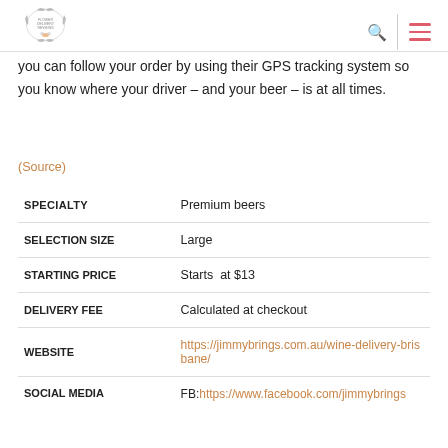Flower Delivery Reviews [logo] [search icon] [menu icon]
you can follow your order by using their GPS tracking system so you know where your driver – and your beer – is at all times.
(Source)
|  |  |
| --- | --- |
| SPECIALTY | Premium beers |
| SELECTION SIZE | Large |
| STARTING PRICE | Starts  at $13 |
| DELIVERY FEE | Calculated at checkout |
| WEBSITE | https://jimmybrings.com.au/wine-delivery-brisbane/ |
| SOCIAL MEDIA | FB:https://www.facebook.com/jimmybrings |